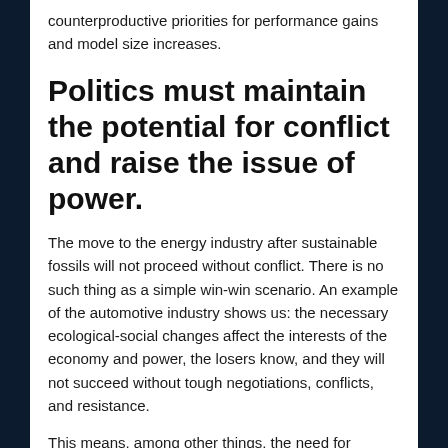counterproductive priorities for performance gains and model size increases.
Politics must maintain the potential for conflict and raise the issue of power.
The move to the energy industry after sustainable fossils will not proceed without conflict. There is no such thing as a simple win-win scenario. An example of the automotive industry shows us: the necessary ecological-social changes affect the interests of the economy and power, the losers know, and they will not succeed without tough negotiations, conflicts, and resistance.
This means, among other things, the need for democratically legalized politics. You don't have to regulate every little thing, but establishing a real